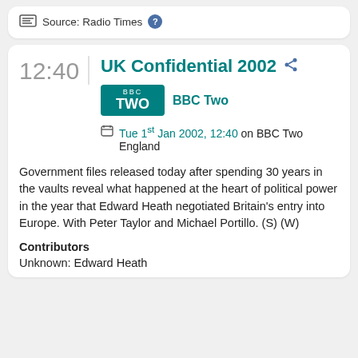Source: Radio Times
UK Confidential 2002
BBC Two
Tue 1st Jan 2002, 12:40 on BBC Two England
Government files released today after spending 30 years in the vaults reveal what happened at the heart of political power in the year that Edward Heath negotiated Britain's entry into Europe. With Peter Taylor and Michael Portillo. (S) (W)
Contributors
Unknown: Edward Heath